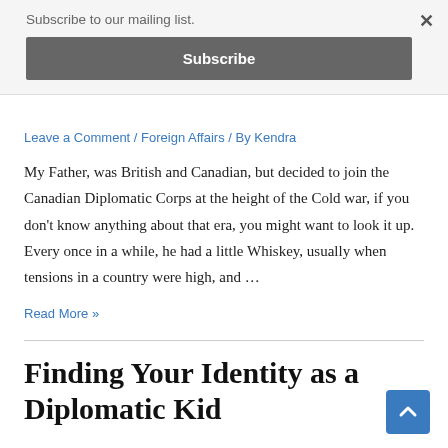Subscribe to our mailing list.
Subscribe
Leave a Comment / Foreign Affairs / By Kendra
My Father, was British and Canadian, but decided to join the Canadian Diplomatic Corps at the height of the Cold war, if you don't know anything about that era, you might want to look it up. Every once in a while, he had a little Whiskey, usually when tensions in a country were high, and …
Read More »
Finding Your Identity as a Diplomatic Kid